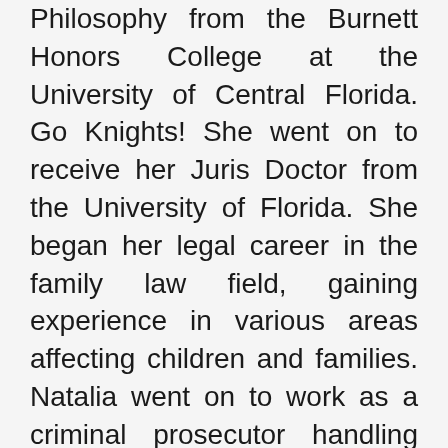Philosophy from the Burnett Honors College at the University of Central Florida. Go Knights! She went on to receive her Juris Doctor from the University of Florida. She began her legal career in the family law field, gaining experience in various areas affecting children and families. Natalia went on to work as a criminal prosecutor handling cases from simple misdemeanors to complex first degree felonies. After working for several years in the criminal justice system, Natalia recognized that her passion was still with serving families in the family law arena. She joined Compass Law in 2014 where she continues to serve Central Florida families in all of their family law related needs, including dissolution of marriage, adoption, and dependency. Natalia maintains strong ties within the community by being a board member with Young Life of Northeast Orlando as well as actively participating in her local church